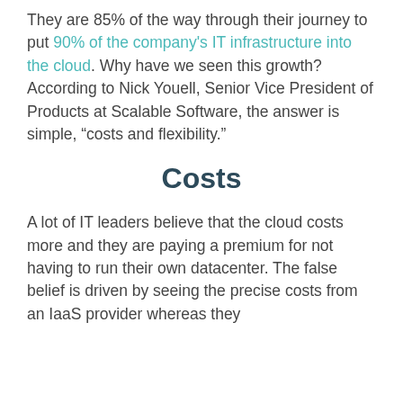They are 85% of the way through their journey to put 90% of the company's IT infrastructure into the cloud. Why have we seen this growth? According to Nick Youell, Senior Vice President of Products at Scalable Software, the answer is simple, “costs and flexibility.”
Costs
A lot of IT leaders believe that the cloud costs more and they are paying a premium for not having to run their own datacenter. The false belief is driven by seeing the precise costs from an IaaS provider whereas they